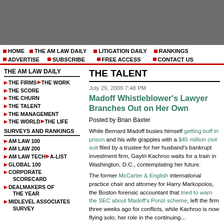[Figure (other): Gray advertisement banner at top of page]
HOME • THE AM LAW DAILY • LITIGATION DAILY • RANKINGS • ADVERTISE • SUBSCRIBE • FREE ACCESS • CONTACT US
THE TALENT
July 29, 2009 7:48 PM
Madoff Whistleblower's Lawyer Branches Out on Her Own
Posted by Brian Baxter
While Bernard Madoff busies himself getting buff in prison and his wife grapples with a $45 million civil suit filed by a trustee for her husband's bankrupt investment firm, Gaytri Kachroo waits for a train in Washington, D.C., contemplating her future.
The former McCarter & English international practice chair and attorney for Harry Markopolos, the Boston forensic accountant that tried to warn the SEC about Madoff's Ponzi scheme, left the firm three weeks ago for conflicts, while Kachroo is now flying solo, her role in the continuing…
THE FIRMS
THE WORK
THE SCORE
THE CHURN
THE TALENT
THE MANAGEMENT
THE WORLD
THE LIFE
AM LAW 100
AM LAW 200
AM LAW TECH
A-LIST
GLOBAL 100
CORPORATE SCORECARD
DEALMAKERS OF THE YEAR
MIDLEVEL ASSOCIATES SURVEY